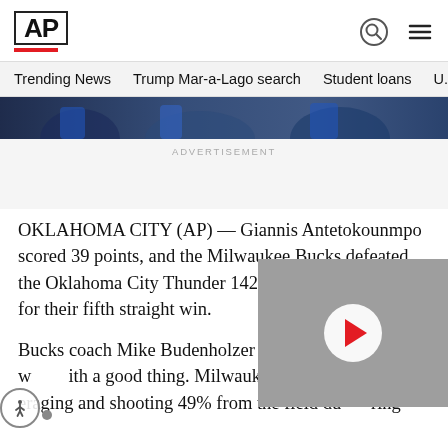AP
Trending News   Trump Mar-a-Lago search   Student loans   U.S.
[Figure (photo): Partial view of basketball game photo showing players in blue uniforms]
ADVERTISEMENT
OKLAHOMA CITY (AP) — Giannis Antetokounmpo scored 39 points, and the Milwaukee Bucks defeated the Oklahoma City Thunder 142-115 on Tuesday night for their fifth straight win.
Bucks coach Mike Budenholzer doesn't want to mess with a good thing. Milwaukee is averaging ... and shooting 49% from the field du...
[Figure (screenshot): Video player overlay with grey background and white circular play button with red triangle]
[Figure (illustration): Accessibility icon — person figure inside circle with dot]